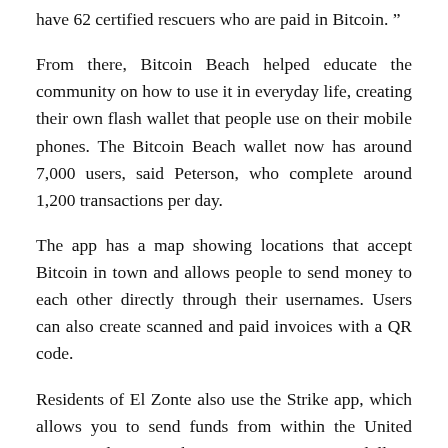have 62 certified rescuers who are paid in Bitcoin.”
From there, Bitcoin Beach helped educate the community on how to use it in everyday life, creating their own flash wallet that people use on their mobile phones. The Bitcoin Beach wallet now has around 7,000 users, said Peterson, who complete around 1,200 transactions per day.
The app has a map showing locations that accept Bitcoin in town and allows people to send money to each other directly through their usernames. Users can also create scanned and paid invoices with a QR code.
Residents of El Zonte also use the Strike app, which allows you to send funds from within the United States and receive them in Bitcoin or U.S. dollars, Peterson said.
But while Bitcoin is more volatile, Peterson said he has heard many Salvadorans say they prefer to keep their money there rather than fiat currency because “this is the first time they can actually invest in a activ”